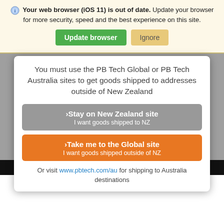Your web browser (iOS 11) is out of date. Update your browser for more security, speed and the best experience on this site.
Update browser | Ignore
You must use the PB Tech Global or PB Tech Australia sites to get goods shipped to addresses outside of New Zealand
>Stay on New Zealand site
I want goods shipped to NZ
>Take me to the Global site
I want goods shipped outside of NZ
Or visit www.pbtech.com/au for shipping to Australia destinations